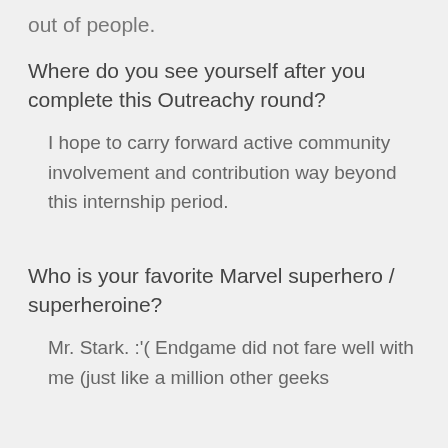out of people.
Where do you see yourself after you complete this Outreachy round?
I hope to carry forward active community involvement and contribution way beyond this internship period.
Who is your favorite Marvel superhero / superheroine?
Mr. Stark. :'( Endgame did not fare well with me (just like a million other geeks